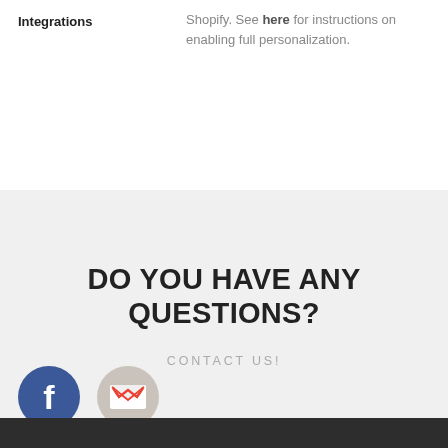Integrations
Shopify. See here for instructions on enabling full personalization.
DO YOU HAVE ANY QUESTIONS?
CONTACT US!
[Figure (logo): Facebook logo icon — blue circle with white letter f]
[Figure (logo): Gmail logo icon — gray circle with red and white M envelope symbol]